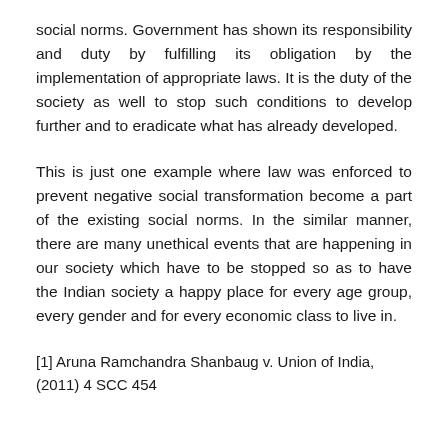social norms. Government has shown its responsibility and duty by fulfilling its obligation by the implementation of appropriate laws. It is the duty of the society as well to stop such conditions to develop further and to eradicate what has already developed.
This is just one example where law was enforced to prevent negative social transformation become a part of the existing social norms. In the similar manner, there are many unethical events that are happening in our society which have to be stopped so as to have the Indian society a happy place for every age group, every gender and for every economic class to live in.
[1] Aruna Ramchandra Shanbaug v. Union of India, (2011) 4 SCC 454